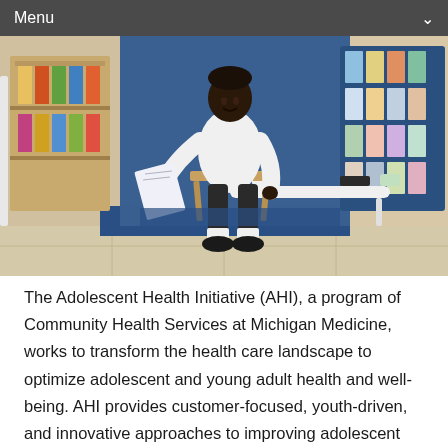Menu
[Figure (photo): A young man with dark skin and curly hair sits on a wooden chair in what appears to be a health clinic waiting area, smiling and reading a brochure. He wears a white long-sleeve shirt and shorts with black shoes and white socks. Behind him is a blue wall with a rack of colorful health pamphlets on the right, and a bulletin board and shelving unit on the left. A white modern side table sits to his right with items on it. The floor is tiled.]
The Adolescent Health Initiative (AHI), a program of Community Health Services at Michigan Medicine, works to transform the health care landscape to optimize adolescent and young adult health and well-being. AHI provides customer-focused, youth-driven, and innovative approaches to improving adolescent care through coaching and